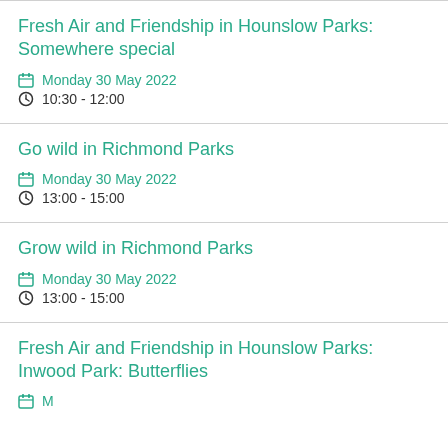Fresh Air and Friendship in Hounslow Parks: Somewhere special
Monday 30 May 2022
10:30 - 12:00
Go wild in Richmond Parks
Monday 30 May 2022
13:00 - 15:00
Grow wild in Richmond Parks
Monday 30 May 2022
13:00 - 15:00
Fresh Air and Friendship in Hounslow Parks: Inwood Park: Butterflies
Monday 30 May 2022